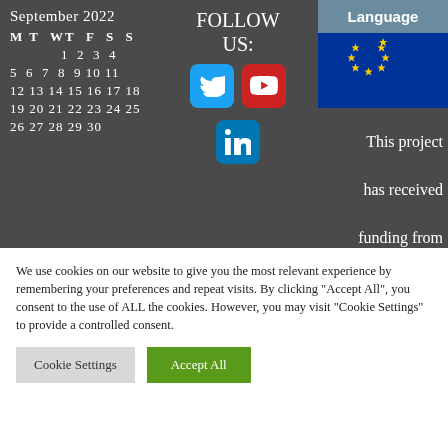[Figure (screenshot): Website footer screenshot showing September 2022 calendar, social media follow links (Twitter, YouTube, LinkedIn), Language button with EU flag, and text 'This project has received funding from']
We use cookies on our website to give you the most relevant experience by remembering your preferences and repeat visits. By clicking "Accept All", you consent to the use of ALL the cookies. However, you may visit "Cookie Settings" to provide a controlled consent.
Cookie Settings | Accept All